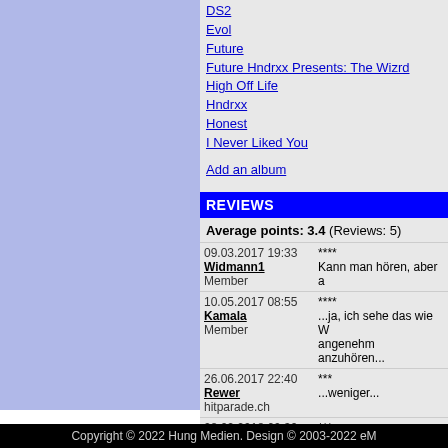DS2
Evol
Future
Future Hndrxx Presents: The Wizrd
High Off Life
Hndrxx
Honest
I Never Liked You
Add an album
REVIEWS
Average points: 3.4 (Reviews: 5)
| Date/User | Stars | Comment |
| --- | --- | --- |
| 09.03.2017 19:33
Widmann1
Member | **** | Kann man hören, aber a |
| 10.05.2017 08:55
Kamala
Member | **** | ...ja, ich sehe das wie W angenehm anzuhören... |
| 26.06.2017 22:40
Rewer
hitparade.ch | *** | ...weniger... |
| 28.02.2018 00:30
Werner
Member | *** | ...ich hätte definitiv germ Sound... |
| 22.03.2020 14:33
fabio
Member | *** | weniger |
Add a review
Copyright © 2022 Hung Medien. Design © 2003-2022 eM